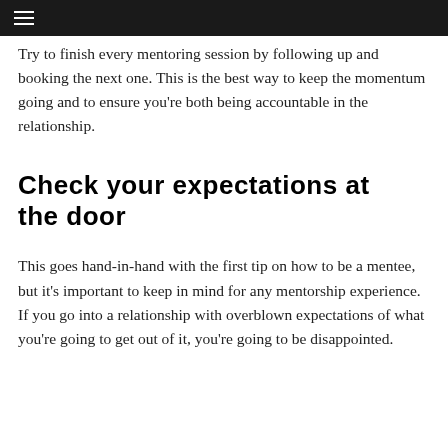≡
Try to finish every mentoring session by following up and booking the next one. This is the best way to keep the momentum going and to ensure you're both being accountable in the relationship.
Check your expectations at the door
This goes hand-in-hand with the first tip on how to be a mentee, but it's important to keep in mind for any mentorship experience. If you go into a relationship with overblown expectations of what you're going to get out of it, you're going to be disappointed.